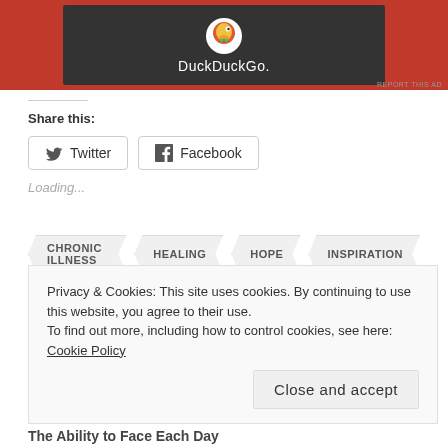[Figure (screenshot): DuckDuckGo advertisement banner with dark background and logo]
REPORT THIS AD
Share this:
Twitter
Facebook
Loading...
CHRONIC ILLNESS
HEALING
HOPE
INSPIRATION
MENTAL HEALTH
PTSD
TRAUMA
WRITING
Privacy & Cookies: This site uses cookies. By continuing to use this website, you agree to their use.
To find out more, including how to control cookies, see here: Cookie Policy
Close and accept
The Ability to Face Each Day